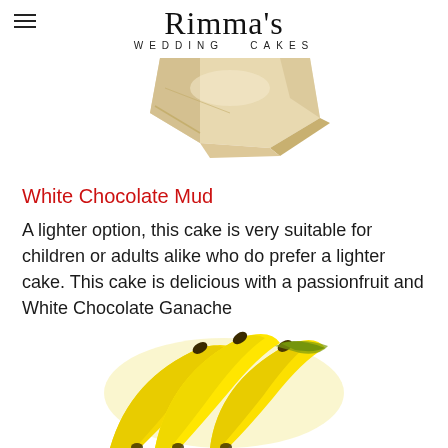Rimma's WEDDING CAKES
[Figure (photo): A piece of white chocolate mud cake on a white background, partially cropped at top]
White Chocolate Mud
A lighter option, this cake is very suitable for children or adults alike who do prefer a lighter cake. This cake is delicious with a passionfruit and White Chocolate Ganache
[Figure (photo): Several ripe yellow bananas on a white background, viewed from above, partially cropped at bottom]